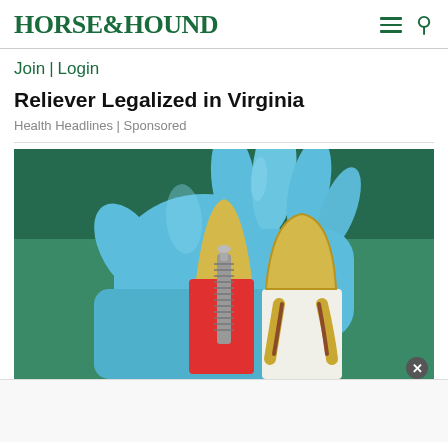HORSE&HOUND
Join | Login
Reliever Legalized in Virginia
Health Headlines | Sponsored
[Figure (photo): A gloved hand in blue surgical glove holding a dental implant model showing cross-sections of teeth with implant screw, on green background]